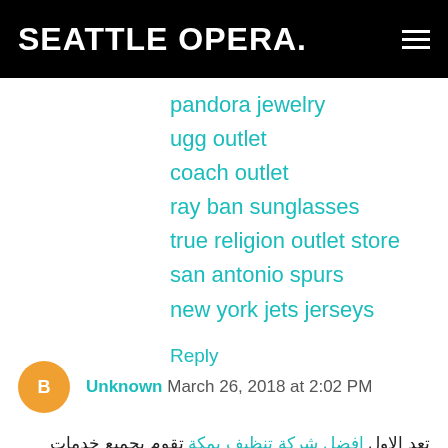SEATTLE OPERA.
pandora jewelry
ugg outlet
coach outlet
ray ban sunglasses
true religion outlet store
san antonio spurs
new york jets jerseys
Reply
Unknown  March 26, 2018 at 2:02 PM
تعد الاول افضل شركة تنظيف بمكة تقوم بجميع خدمات شركة تنظيف منازل بمكة وشقق وكنب وسجاد ومجالس و مفروشات خصومات كبيرة في افضل الخدمات المنزلية وانصح بالتعامل معها